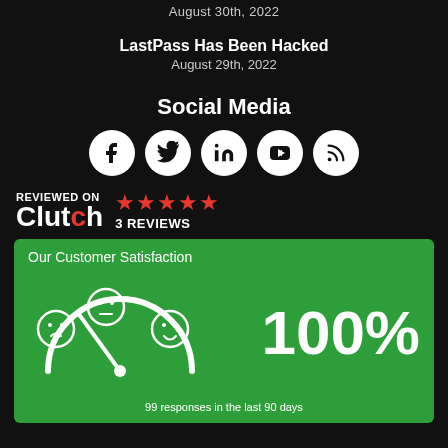August 30th, 2022
LastPass Has Been Hacked
August 29th, 2022
Social Media
[Figure (infographic): Social media icons: Facebook, Twitter, LinkedIn, YouTube, RSS — white circles on dark background]
[Figure (logo): Reviewed on Clutch badge with 5 red stars and '3 REVIEWS' text]
[Figure (infographic): Customer Satisfaction infographic: green box showing gauge with smiley faces, 100% satisfaction, 99 responses in the last 90 days]